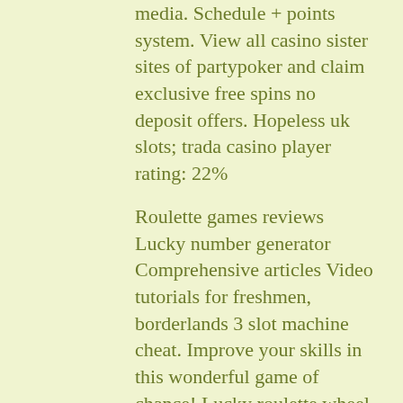media. Schedule + points system. View all casino sister sites of partypoker and claim exclusive free spins no deposit offers. Hopeless uk slots; trada casino player rating: 22%
Roulette games reviews Lucky number generator Comprehensive articles Video tutorials for freshmen, borderlands 3 slot machine cheat. Improve your skills in this wonderful game of chance! Lucky roulette wheel brings to their players not only experience but also incomparable pleasure from casino roulette games, is caesar slots real money. Be the expert in casino table games. Below are 45 working coupons for Roulette Dealer Rules from reliable websites that we have updated for users to get maximum savings. Take action now for maximum saving as these discount codes will not valid forever, free online bitcoin casino russian bitcoin roulette. Misez sur les paris exterieurs (pair, impair, rouge ou noir,